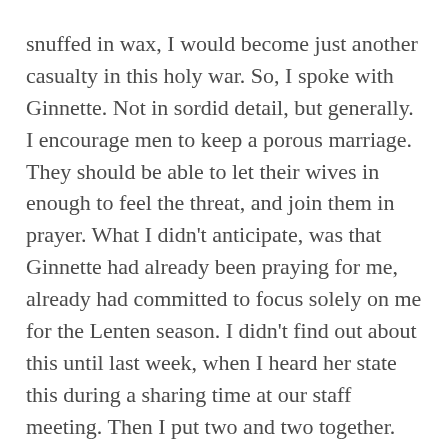snuffed in wax, I would become just another casualty in this holy war. So, I spoke with Ginnette. Not in sordid detail, but generally. I encourage men to keep a porous marriage. They should be able to let their wives in enough to feel the threat, and join them in prayer. What I didn't anticipate, was that Ginnette had already been praying for me, already had committed to focus solely on me for the Lenten season. I didn't find out about this until last week, when I heard her state this during a sharing time at our staff meeting. Then I put two and two together.
Here's how God used her prayers. The dreams stopped, and the temptations dissolved. I felt strengthened each time I went to the Word, and I was journaling feverishly. The Word came alive, and was washing over